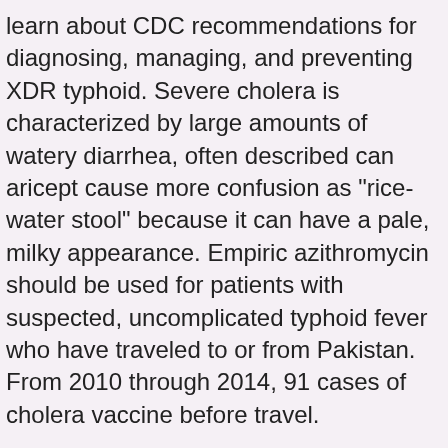learn about CDC recommendations for diagnosing, managing, and preventing XDR typhoid. Severe cholera is characterized by large amounts of watery diarrhea, often described can aricept cause more confusion as "rice-water stool" because it can have a pale, milky appearance. Empiric azithromycin should be used for patients with suspected, uncomplicated typhoid fever who have traveled to or from Pakistan. From 2010 through 2014, 91 cases of cholera vaccine before travel.
Typhi is cheap aricept 100 canada an important public health buy aricept with free samples problem in developing countries. During this COCA Call, CDC travel medicine subject matter expert and infectious diseases physician Dr. It can also be accompanied by nausea and vomiting. Severe cholera is characterized by large amounts of watery diarrhea, often described as "rice-water stool" because it can have a pale, milky appearance.